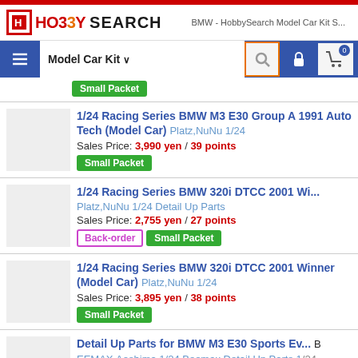HOBBY SEARCH — BMW - HobbySearch Model Car Kit S...
Small Packet (top partial item)
1/24 Racing Series BMW M3 E30 Group A 1991 Auto Tech (Model Car) Platz,NuNu 1/24 — Sales Price: 3,990 yen / 39 points — Small Packet
1/24 Racing Series BMW 320i DTCC 2001 Wi... Platz,NuNu 1/24 Detail Up Parts — Sales Price: 2,755 yen / 27 points — Back-order, Small Packet
1/24 Racing Series BMW 320i DTCC 2001 Winner (Model Car) Platz,NuNu 1/24 — Sales Price: 3,895 yen / 38 points — Small Packet
Detail Up Parts for BMW M3 E30 Sports Ev... BEEMAX,Aoshima 1/24 Beemax Detail Up Parts 1/24 — Sales Price: 2,090 yen / 20 points — Small Packet